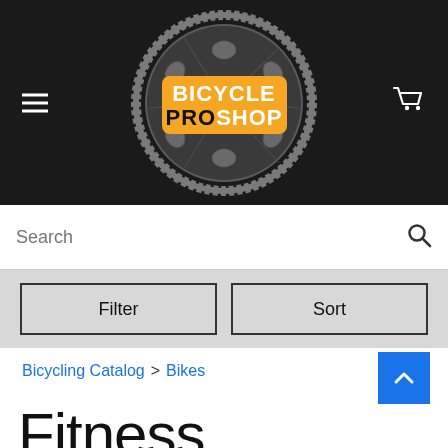[Figure (logo): Bicycle Pro Shop logo: a bicycle chainring gear graphic in dark grey with an orange rectangular banner overlay reading 'BICYCLE PROSHOP' in white/black bold text]
Search
Filter
Sort
Bicycling Catalog > Bikes
Fitness